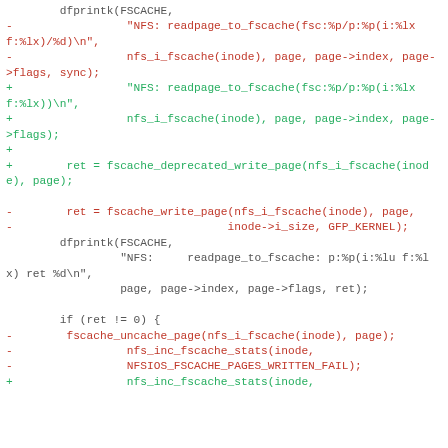Code diff showing changes to NFS fscache readpage function, including removal of sync parameter and fscache_write_page call replaced with fscache_deprecated_write_page, plus changes to error handling statistics.